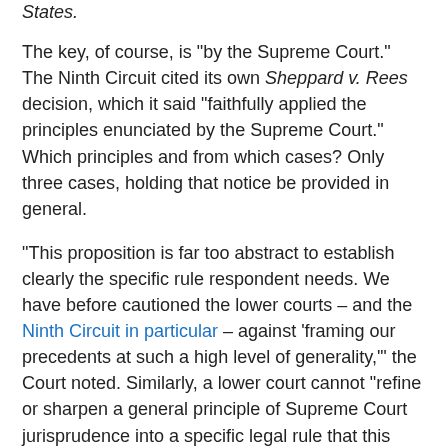States.
The key, of course, is "by the Supreme Court." The Ninth Circuit cited its own Sheppard v. Rees decision, which it said "faithfully applied the principles enunciated by the Supreme Court." Which principles and from which cases? Only three cases, holding that notice be provided in general.
"This proposition is far too abstract to establish clearly the specific rule respondent needs. We have before cautioned the lower courts – and the Ninth Circuit in particular – against 'framing our precedents at such a high level of generality,'" the Court noted. Similarly, a lower court cannot "refine or sharpen a general principle of Supreme Court jurisprudence into a specific legal rule that this Court has not announced."
Related Resources:
Loner v. Smith (FindLaw's Caselaw)